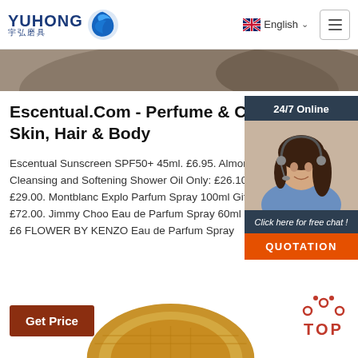[Figure (logo): Yuhong logo with blue wave icon and Chinese characters 宇弘磨具]
[Figure (screenshot): Navigation bar with English language selector and hamburger menu]
[Figure (photo): Decorative top band with dark textured circular object]
Escentual.Com - Perfume & Cosm Skin, Hair & Body
Escentual Sunscreen SPF50+ 45ml. £6.95. Almond Cleansing and Softening Shower Oil Only: £26.10 RRP: £29.00. Montblanc Explo Parfum Spray 100ml Gift Set. £72.00. Jimmy Choo Eau de Parfum Spray 60ml Gift Set. £6 FLOWER BY KENZO Eau de Parfum Spray
[Figure (photo): 24/7 Online chat widget with photo of female customer service agent wearing headset, with Click here for free chat and QUOTATION button]
[Figure (other): Red TOP button with upward pointing dots icon]
[Figure (photo): Bottom decorative circular object in gold/brown color]